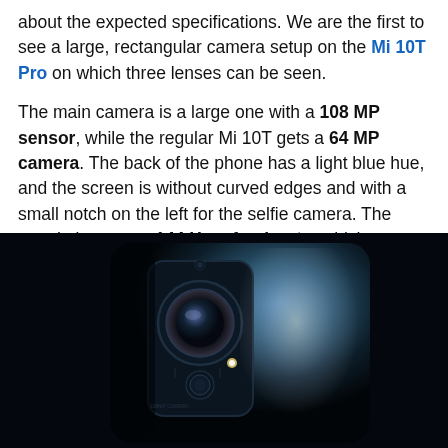about the expected specifications. We are the first to see a large, rectangular camera setup on the Mi 10T Pro on which three lenses can be seen.

The main camera is a large one with a 108 MP sensor, while the regular Mi 10T gets a 64 MP camera. The back of the phone has a light blue hue, and the screen is without curved edges and with a small notch on the left for the selfie camera. The panel also gets a 144 Hz refresh rate, which corresponds to the refresh rate of gaming monitors.
[Figure (photo): Dark photograph of the back of a Xiaomi Mi 10T Pro smartphone showing a rectangular camera module with circular lens elements, the phone body has a light blue hue illuminated against a dark/black background.]